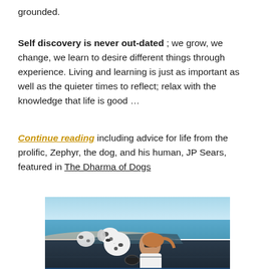grounded.
Self discovery is never out-dated ; we grow, we change, we learn to desire different things through experience. Living and learning is just as important as well as the quieter times to reflect; relax with the knowledge that life is good …
Continue reading including advice for life from the prolific, Zephyr, the dog, and his human, JP Sears, featured in The Dharma of Dogs
[Figure (photo): A woman with sunglasses driving a convertible car on a beach road with a Dalmatian dog sitting in the passenger seat, ocean and clear sky in background.]